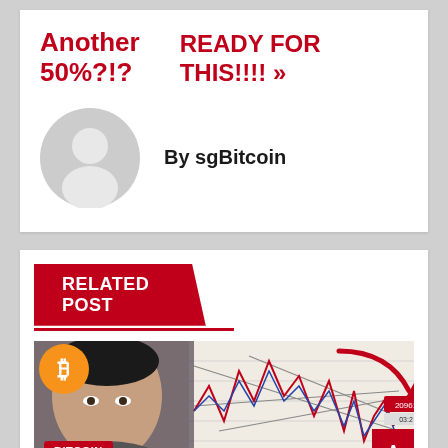Another 50%?!? READY FOR THIS!!!! »
By sgBitcoin
RELATED POST
[Figure (photo): Bitcoin chart thumbnail showing a person with a Bitcoin logo overlay, a financial chart with a red downward arrow, and price levels visible on the right side.]